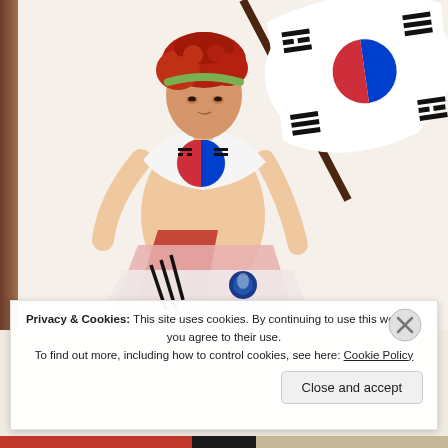[Figure (illustration): Digital illustration of an animated female character with red curly hair and green headband, wearing a white off-shoulder top with the South Korean Taegukgi (flag) design, a red and pink layered skirt with Korean Football Association badge, holding a large South Korean flag on a pole. The flag is shown waving in the upper right. Background is beige/cream.]
Privacy & Cookies: This site uses cookies. By continuing to use this website, you agree to their use.
To find out more, including how to control cookies, see here: Cookie Policy
Close and accept